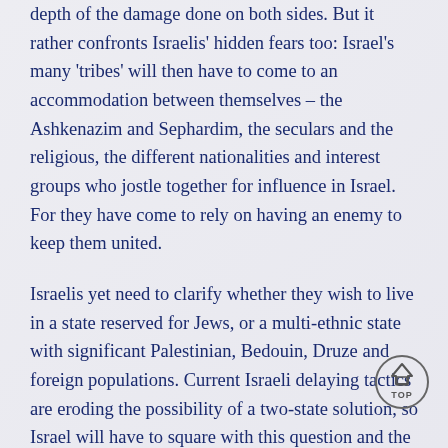depth of the damage done on both sides. But it rather confronts Israelis' hidden fears too: Israel's many 'tribes' will then have to come to an accommodation between themselves – the Ashkenazim and Sephardim, the seculars and the religious, the different nationalities and interest groups who jostle together for influence in Israel. For they have come to rely on having an enemy to keep them united.
Israelis yet need to clarify whether they wish to live in a state reserved for Jews, or a multi-ethnic state with significant Palestinian, Bedouin, Druze and foreign populations. Current Israeli delaying tactics are eroding the possibility of a two-state solution, so Israel will have to square with this question and the Palestinians in another
[Figure (other): A circular 'TOP' navigation button with an upward-pointing house/arrow icon inside a circle outline]